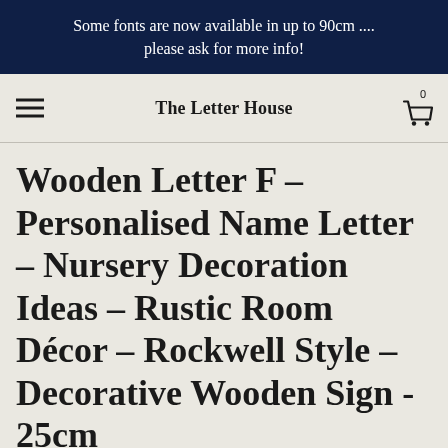Some fonts are now available in up to 90cm .... please ask for more info!
The Letter House
Wooden Letter F – Personalised Name Letter – Nursery Decoration Ideas – Rustic Room Décor – Rockwell Style – Decorative Wooden Sign - 25cm